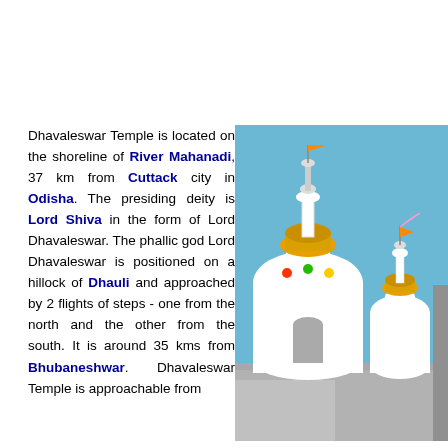Dhavaleswar Temple is located on the shoreline of River Mahanadi, 37 km from Cuttack city in Odisha. The presiding deity is Lord Shiva in the form of Lord Dhavaleswar. The phallic god Lord Dhavaleswar is positioned on a hillock of Dhauli and approached by 2 flights of steps - one from the north and the other from the south. It is around 35 kms from Bhubaneshwar. Dhavaleswar Temple is approachable from Chahata Ghat. Since it is situated in an island in the middle of the Mahanadi River, boats are the only means of transport to reach the temple.
[Figure (photo): Photo of Dhavaleswar Temple showing white dome-shaped temple structures with colorful decorations against a blue sky]
Devoted to Lord Shiva, this godly shrine with its pure green environment lifts up one's spirits to a morally superior plane. Here the enchanting water spread of Mahanadi provides ample opportunities for water sports. The antiquity of the temple coupled with its serene ambience make this place an ideal visiting place and one of the important temple...